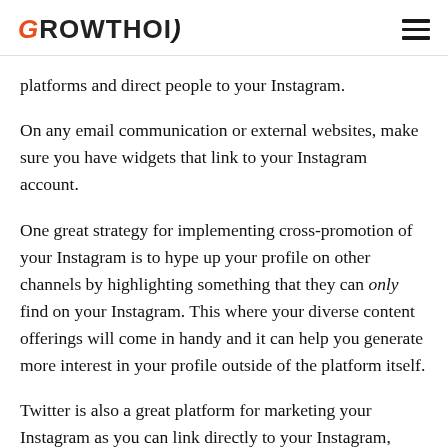GROWTHOID
platforms and direct people to your Instagram.
On any email communication or external websites, make sure you have widgets that link to your Instagram account.
One great strategy for implementing cross-promotion of your Instagram is to hype up your profile on other channels by highlighting something that they can only find on your Instagram. This where your diverse content offerings will come in handy and it can help you generate more interest in your profile outside of the platform itself.
Twitter is also a great platform for marketing your Instagram as you can link directly to your Instagram,